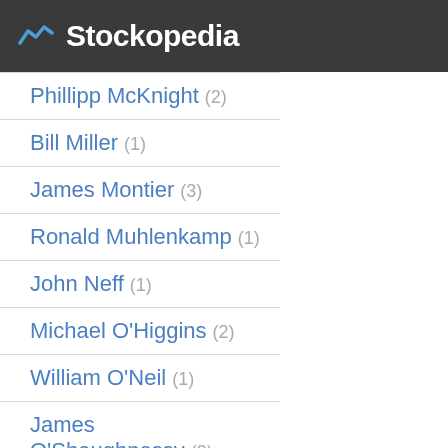Stockopedia
Phillipp McKnight (2)
Bill Miller (1)
James Montier (3)
Ronald Muhlenkamp (1)
John Neff (1)
Michael O'Higgins (2)
William O'Neil (1)
James O'Shaughnessy (3)
Josef Piotroski (6)
T Rowe Price (1)